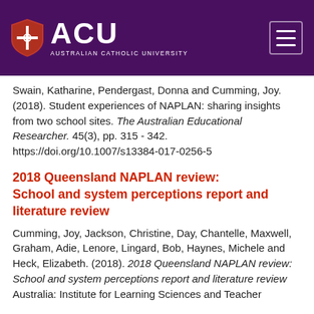[Figure (logo): ACU (Australian Catholic University) logo with shield and text on purple header background, with hamburger menu icon on right]
Swain, Katharine, Pendergast, Donna and Cumming, Joy. (2018). Student experiences of NAPLAN: sharing insights from two school sites. The Australian Educational Researcher. 45(3), pp. 315 - 342. https://doi.org/10.1007/s13384-017-0256-5
2018 Queensland NAPLAN review: School and system perceptions report and literature review
Cumming, Joy, Jackson, Christine, Day, Chantelle, Maxwell, Graham, Adie, Lenore, Lingard, Bob, Haynes, Michele and Heck, Elizabeth. (2018). 2018 Queensland NAPLAN review: School and system perceptions report and literature review Australia: Institute for Learning Sciences and Teacher